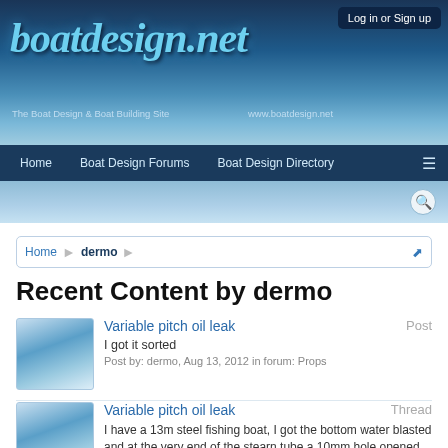[Figure (screenshot): boatdesign.net website header banner with logo and water background]
Log in or Sign up
boatdesign.net
The Boat Design & Boat Building Site   www.boatdesign.net
Home   Boat Design Forums   Boat Design Directory   ≡
Home > dermo
Recent Content by dermo
Variable pitch oil leak   Post
I got it sorted
Post by: dermo, Aug 13, 2012 in forum: Props
Variable pitch oil leak   Thread
I have a 13m steel fishing boat, I got the bottom water blasted and at the very end of the stearn tube a 10mm hole opened and 2 gal of reddish oil...
Thread by: dermo, Aug 3, 2012, 2 replies, in forum: Props
How To Isolate A Alternater Question   Post
what am basicly trying to do is turn a truck alt into a marine one, i was told i could put non return diodes into the alt, i haven't got much...